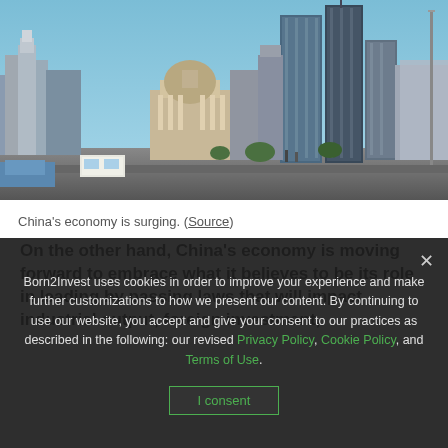[Figure (photo): Skyline photo of a Chinese city showing modern skyscrapers, historical dome building, wide plaza, vehicles and pedestrians in foreground, blue sky background]
China's economy is surging. (Source)
On the other hand, China's economy is moving forward to embrace what it believes to be its role in leading by passing laws that will impact industrial output, foreign investment,
Born2Invest uses cookies in order to improve your experience and make further customizations to how we present our content. By continuing to use our website, you accept and give your consent to our practices as described in the following: our revised Privacy Policy, Cookie Policy, and Terms of Use.
I consent
What can make this possible is the fact that, while the U.S. government is a democracy, China's is authoritarian with full